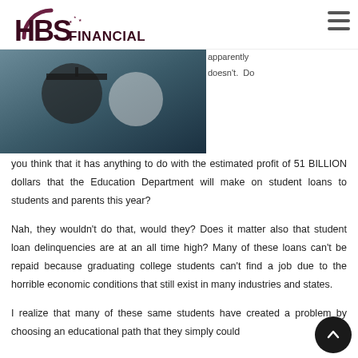[Figure (logo): HBS Financial Group, Ltd. logo with dark red/maroon crescent arc and stars]
[Figure (photo): Graduation cap and gown photo, partially visible]
apparently doesn't. Do you think that it has anything to do with the estimated profit of 51 BILLION dollars that the Education Department will make on student loans to students and parents this year?
Nah, they wouldn't do that, would they? Does it matter also that student loan delinquencies are at an all time high? Many of these loans can't be repaid because graduating college students can't find a job due to the horrible economic conditions that still exist in many industries and states.
I realize that many of these same students have created a problem by choosing an educational path that they simply could